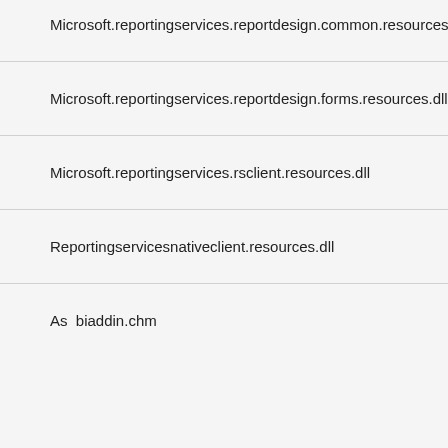Microsoft.reportingservices.reportdesign.common.resources.dll
Microsoft.reportingservices.reportdesign.forms.resources.dll
Microsoft.reportingservices.rsclient.resources.dll
Reportingservicesnativeclient.resources.dll
As  biaddin.chm